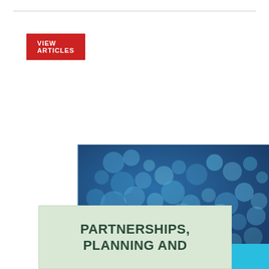VIEW ARTICLES
[Figure (photo): Blue bokeh background with scattered light circles, with a cyan bar at the bottom containing an ENTER NOW button]
ENTER NOW
PARTNERSHIPS, PLANNING AND